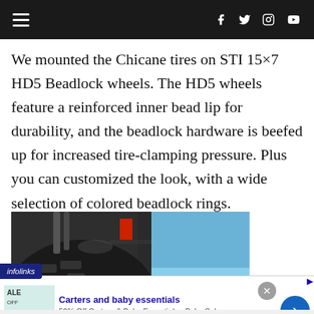Navigation bar with hamburger menu and social icons (Facebook, Twitter, Instagram, YouTube)
We mounted the Chicane tires on STI 15×7 HD5 Beadlock wheels. The HD5 wheels feature a reinforced inner bead lip for durability, and the beadlock hardware is beefed up for increased tire-clamping pressure. Plus you can customized the look, with a wide selection of colored beadlock rings.
[Figure (photo): Close-up photo of a tire/wheel assembly with blue sky in background]
infolinks
Carters and baby essentials
50% Off Carters & Baby Essentials - Baby Sale
www.belk.com